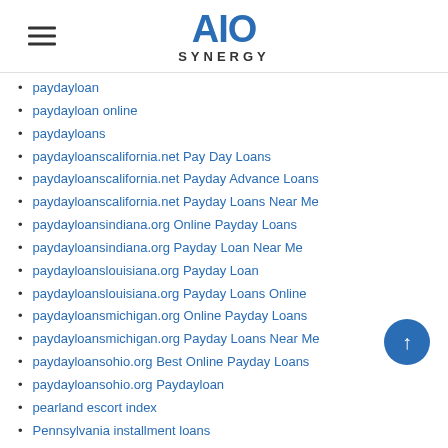AIO SYNERGY
paydayloan
paydayloan online
paydayloans
paydayloanscalifornia.net Pay Day Loans
paydayloanscalifornia.net Payday Advance Loans
paydayloanscalifornia.net Payday Loans Near Me
paydayloansindiana.org Online Payday Loans
paydayloansindiana.org Payday Loan Near Me
paydayloanslouisiana.org Payday Loan
paydayloanslouisiana.org Payday Loans Online
paydayloansmichigan.org Online Payday Loans
paydayloansmichigan.org Payday Loans Near Me
paydayloansohio.org Best Online Payday Loans
paydayloansohio.org Paydayloan
pearland escort index
Pennsylvania installment loans
peoria-1 reviews
per-etnia-it visitors
personal bank loans
personal installment loans